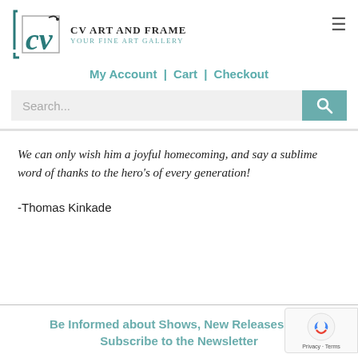CV Art and Frame – Your Fine Art Gallery | My Account | Cart | Checkout
We can only wish him a joyful homecoming, and say a sublime word of thanks to the hero's of every generation!
-Thomas Kinkade
Be Informed about Shows, New Releases and Subscribe to the Newsletter